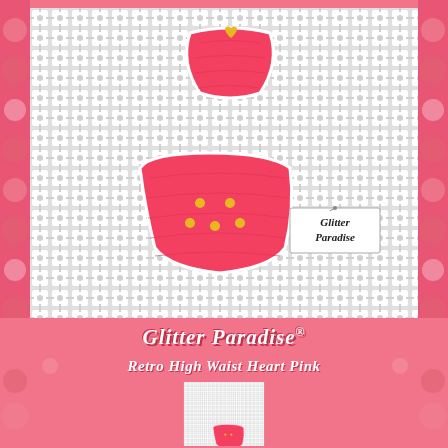[Figure (photo): Product photo of pink retro high-waist bikini brooch set (top and bottom) on white lace fabric background, with a Glitter Paradise brand tag visible. Pink rose-patterned border surrounds the image.]
Glitter Paradise®
Retro High Waist Heart Pink
[Figure (photo): Partial product photo showing pink retro high-waist bikini brooch on white lace fabric, cropped view. Pink rose-patterned border surrounds the image.]